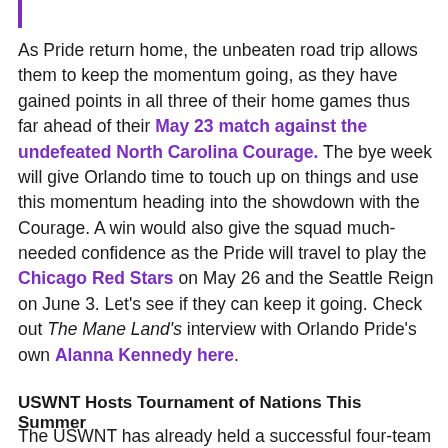As Pride return home, the unbeaten road trip allows them to keep the momentum going, as they have gained points in all three of their home games thus far ahead of their May 23 match against the undefeated North Carolina Courage. The bye week will give Orlando time to touch up on things and use this momentum heading into the showdown with the Courage. A win would also give the squad much-needed confidence as the Pride will travel to play the Chicago Red Stars on May 26 and the Seattle Reign on June 3. Let's see if they can keep it going. Check out The Mane Land's interview with Orlando Pride's own Alanna Kennedy here.
USWNT Hosts Tournament of Nations This Summer
The USWNT has already held a successful four-team